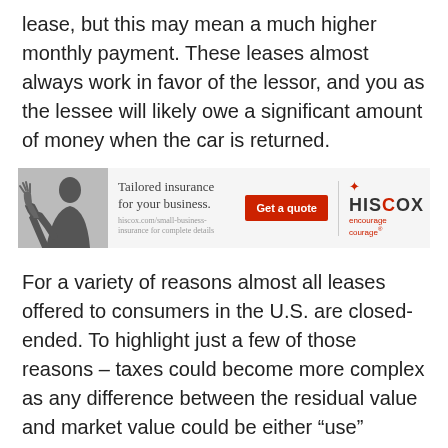lease, but this may mean a much higher monthly payment. These leases almost always work in favor of the lessor, and you as the lessee will likely owe a significant amount of money when the car is returned.
[Figure (other): Advertisement banner for Hiscox business insurance. Shows a man in a suit, text 'Tailored insurance for your business.', a red 'Get a quote' button, and the Hiscox logo with 'encourage courage' tagline.]
For a variety of reasons almost all leases offered to consumers in the U.S. are closed-ended.  To highlight just a few of those reasons – taxes could become more complex as any difference between the residual value and market value could be either “use” subject to use tax (or a request for a credit for too much tax paid), and another reason is that dealers and manufacturers know